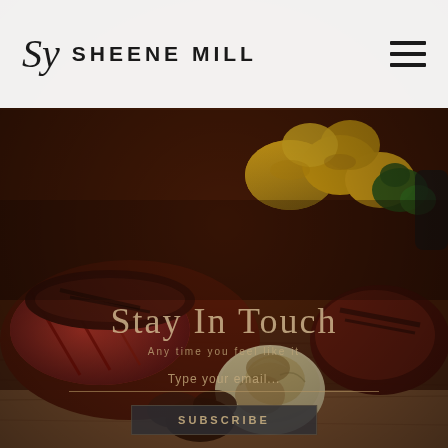[Figure (photo): Sheene Mill restaurant website screenshot showing the logo header with hamburger menu icon, and a food photograph of grilled steak sliced on a wooden board with roast potatoes, garlic, and herbs. Overlaid on the food photo are semi-transparent UI elements: 'Stay In Touch' heading, 'Any time you feel like it' subtext, an email input field, and a SUBSCRIBE button.]
Sy SHEENE MILL
Stay In Touch
Any time you feel like it
Type your email...
SUBSCRIBE